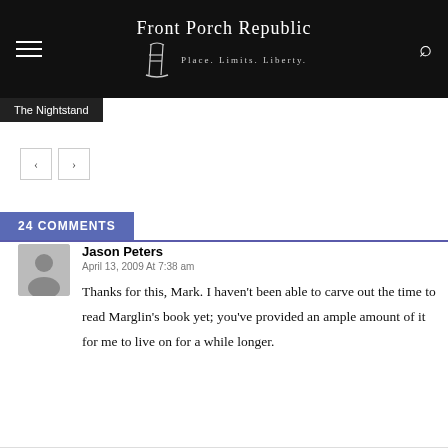Front Porch Republic — Place. Limits. Liberty.
The Nightstand
24 COMMENTS
Jason Peters
April 13, 2009 At 7:38 am
Thanks for this, Mark. I haven't been able to carve out the time to read Marglin's book yet; you've provided an ample amount of it for me to live on for a while longer.